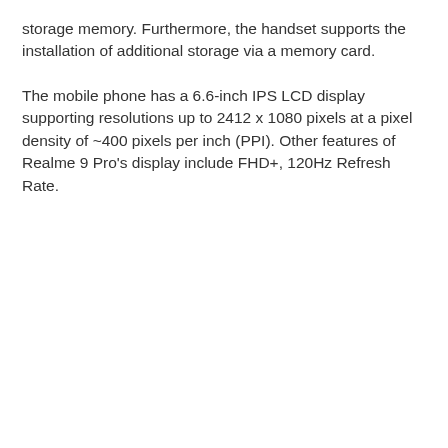storage memory. Furthermore, the handset supports the installation of additional storage via a memory card.
The mobile phone has a 6.6-inch IPS LCD display supporting resolutions up to 2412 x 1080 pixels at a pixel density of ~400 pixels per inch (PPI). Other features of Realme 9 Pro's display include FHD+, 120Hz Refresh Rate.